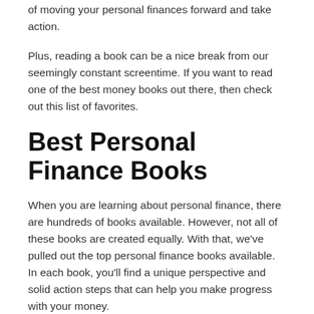of moving your personal finances forward and take action.
Plus, reading a book can be a nice break from our seemingly constant screentime. If you want to read one of the best money books out there, then check out this list of favorites.
Best Personal Finance Books
When you are learning about personal finance, there are hundreds of books available. However, not all of these books are created equally. With that, we've pulled out the top personal finance books available. In each book, you'll find a unique perspective and solid action steps that can help you make progress with your money.